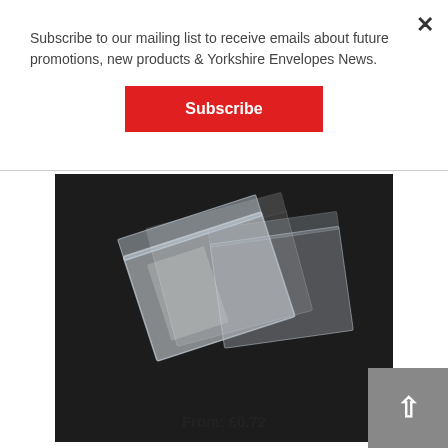Subscribe to our mailing list to receive emails about future promotions, new products & Yorkshire Envelopes News.
Subscribe
[Figure (photo): Clear cellophane bags (cello bags) displayed on a dark background, showing transparent packaging bags stacked at an angle.]
Cello Bags – 30mic
From: £0.72